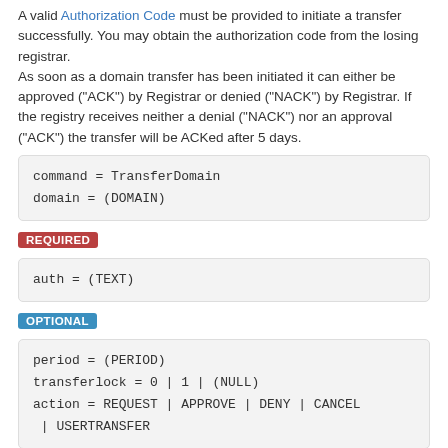A valid Authorization Code must be provided to initiate a transfer successfully. You may obtain the authorization code from the losing registrar.
As soon as a domain transfer has been initiated it can either be approved ("ACK") by Registrar or denied ("NACK") by Registrar. If the registry receives neither a denial ("NACK") nor an approval ("ACK") the transfer will be ACKed after 5 days.
command = TransferDomain
domain = (DOMAIN)
REQUIRED
auth = (TEXT)
OPTIONAL
period = (PERIOD)
transferlock = 0 | 1 | (NULL)
action = REQUEST | APPROVE | DENY | CANCEL | USERTRANSFER
Delete Domain
[edit]